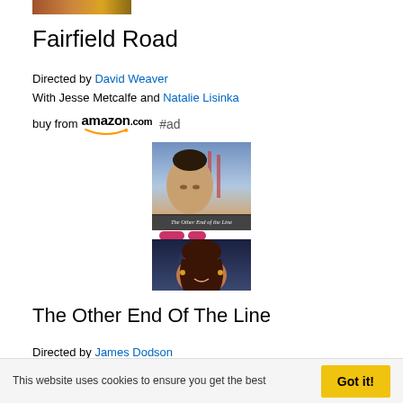[Figure (photo): Partial movie poster image strip at top]
Fairfield Road
Directed by David Weaver
With Jesse Metcalfe and Natalie Lisinka
buy from amazon.com #ad
[Figure (photo): Movie poster for 'The Other End of the Line' showing a man with Golden Gate Bridge background on top half, and a woman smiling on bottom half]
The Other End Of The Line
Directed by James Dodson
With Jesse Metcalfe, Shriya, Larry Miller,
This website uses cookies to ensure you get the best